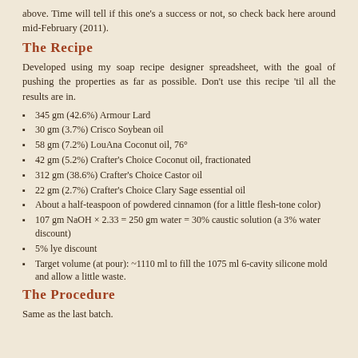above. Time will tell if this one's a success or not, so check back here around mid-February (2011).
The Recipe
Developed using my soap recipe designer spreadsheet, with the goal of pushing the properties as far as possible. Don't use this recipe 'til all the results are in.
345 gm (42.6%) Armour Lard
30 gm (3.7%) Crisco Soybean oil
58 gm (7.2%) LouAna Coconut oil, 76°
42 gm (5.2%) Crafter's Choice Coconut oil, fractionated
312 gm (38.6%) Crafter's Choice Castor oil
22 gm (2.7%) Crafter's Choice Clary Sage essential oil
About a half-teaspoon of powdered cinnamon (for a little flesh-tone color)
107 gm NaOH × 2.33 = 250 gm water = 30% caustic solution (a 3% water discount)
5% lye discount
Target volume (at pour): ~1110 ml to fill the 1075 ml 6-cavity silicone mold and allow a little waste.
The Procedure
Same as the last batch.